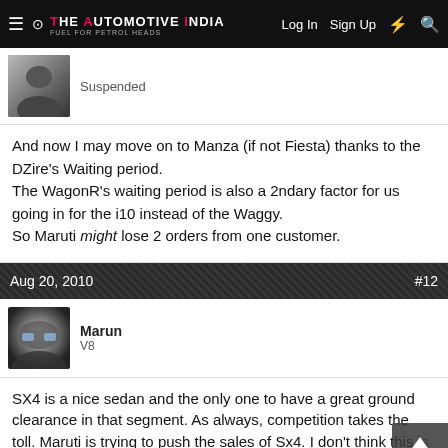The Automotive India | Log In Sign Up
Suspended
And now I may move on to Manza (if not Fiesta) thanks to the DZire's Waiting period.
The WagonR's waiting period is also a 2ndary factor for us going in for the i10 instead of the Waggy.
So Maruti might lose 2 orders from one customer.
Aug 20, 2010   #12
Marun
V8
SX4 is a nice sedan and the only one to have a great ground clearance in that segment. As always, competition takes the toll. Maruti is trying to push the sales of Sx4. I don't think this is going to work out. Never knew that MSIL is using ford's strategy of launching limited versions.